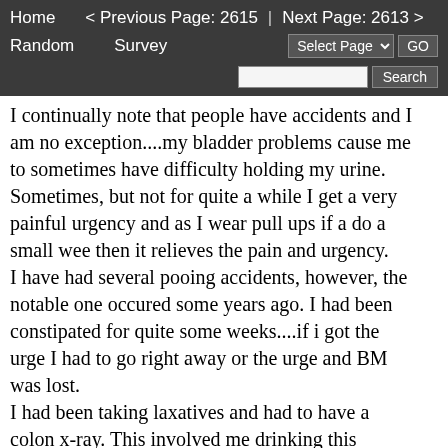Home  < Previous Page: 2615  |  Next Page: 2613 >  Random  Survey  Select Page  GO  Search
I continually note that people have accidents and I am no exception....my bladder problems cause me to sometimes have difficulty holding my urine. Sometimes, but not for quite a while I get a very painful urgency and as I wear pull ups if a do a small wee then it relieves the pain and urgency.
I have had several pooing accidents, however, the notable one occured some years ago. I had been constipated for quite some weeks....if i got the urge I had to go right away or the urge and BM was lost.
I had been taking laxatives and had to have a colon x-ray. This involved me drinking this strange tasting liquid...it was like water but had a slight taste to it. There was quite an amount I had to drink...I was then put on the x-ray table and given a needle...I went very hot and then had the urgent need to poo...I would have given anything to have a bed pan under me whilst the procedure took place. The urge went as quickly as it came...I left and was driving home and near my destination I needed a fart...so I did and it was a big one that had some follow